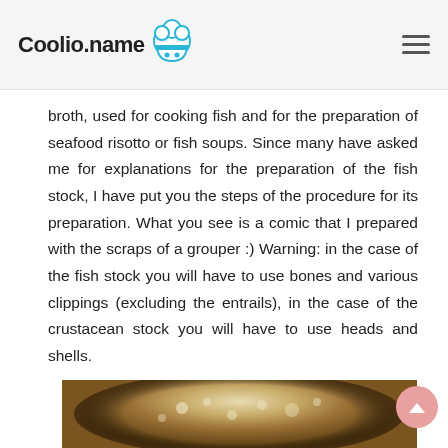Coolio.name
broth, used for cooking fish and for the preparation of seafood risotto or fish soups. Since many have asked me for explanations for the preparation of the fish stock, I have put you the steps of the procedure for its preparation. What you see is a comic that I prepared with the scraps of a grouper :) Warning: in the case of the fish stock you will have to use bones and various clippings (excluding the entrails), in the case of the crustacean stock you will have to use heads and shells.
[Figure (photo): Photo of a cooking pot with boiling or simmering liquid, likely fish stock, viewed from above showing a circular pot with light-colored broth surface.]